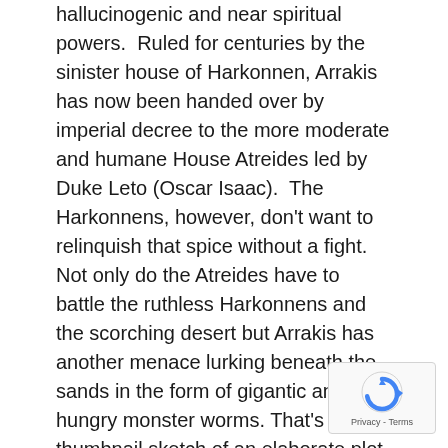hallucinogenic and near spiritual powers.  Ruled for centuries by the sinister house of Harkonnen, Arrakis has now been handed over by imperial decree to the more moderate and humane House Atreides led by Duke Leto (Oscar Isaac).  The Harkonnens, however, don't want to relinquish that spice without a fight.  Not only do the Atreides have to battle the ruthless Harkonnens and the scorching desert but Arrakis has another menace lurking beneath the sands in the form of gigantic and very hungry monster worms. That's a thumbnail sketch of an elaborate plot that largely provides the scaffolding for the story of the rise of Duke Leto's messianic son Paul (Timothy Chalamet) the reluctant and slightly fragile looking heir to House Atreides.
Watching this film, it becomes apparent just how influential Dune was on Star Wars with its imperial
[Figure (other): Google reCAPTCHA badge with rotating arrow icon and Privacy - Terms text]